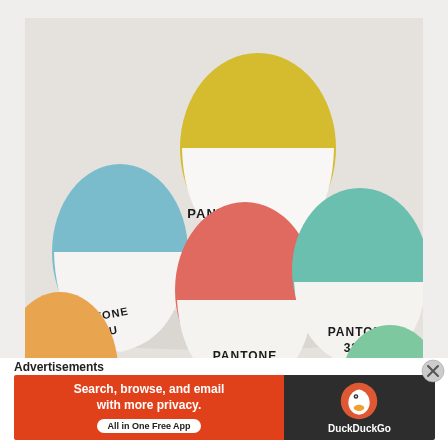[Figure (photo): Five Easter eggs decorated in Pantone color chip style — each egg is half colored and half white with a Pantone color label printed on it. Colors: yellow (PANTONE 106U), light blue (PANTONE 305U), coral/red (PANTONE 1777U), teal (PANTONE 326U), and orange (partially visible). Arranged on a white/grey surface.]
Advertisements
[Figure (infographic): DuckDuckGo advertisement banner. Left side orange background with white bold text: 'Search, browse, and email with more privacy.' and a white pill button 'All in One Free App'. Right side dark background with DuckDuckGo duck logo and text 'DuckDuckGo'.]